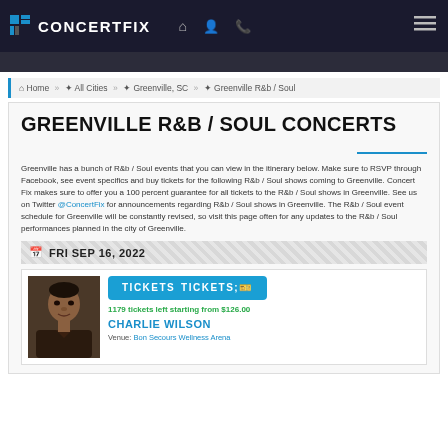CONCERTFIX
Home » All Cities » Greenville, SC » Greenville R&b / Soul
GREENVILLE R&B / SOUL CONCERTS
Greenville has a bunch of R&b / Soul events that you can view in the itinerary below. Make sure to RSVP through Facebook, see event specifics and buy tickets for the following R&b / Soul shows coming to Greenville. Concert Fix makes sure to offer you a 100 percent guarantee for all tickets to the R&b / Soul shows in Greenville. See us on Twitter @ConcertFix for announcements regarding R&b / Soul shows in Greenville. The R&b / Soul event schedule for Greenville will be constantly revised, so visit this page often for any updates to the R&b / Soul performances planned in the city of Greenville.
FRI SEP 16, 2022
[Figure (photo): Photo of Charlie Wilson, a male performer in a dark jacket]
TICKETS
1179 tickets left starting from $126.00
CHARLIE WILSON
Venue: Bon Secours Wellness Arena